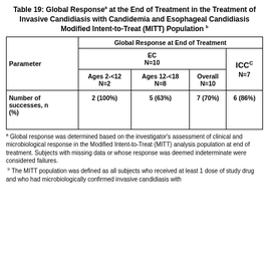Table 19: Global Responseᵃ at the End of Treatment in the Treatment of Invasive Candidiasis with Candidemia and Esophageal Candidiasis Modified Intent-to-Treat (MITT) Population b
| Parameter | Global Response at End of Treatment — EC N=10 Ages 2-<12 N=2 | Global Response at End of Treatment — EC N=10 Ages 12-<18 N=8 | Global Response at End of Treatment — EC N=10 Overall N=10 | Global Response at End of Treatment — ICC^C N=7 Overall N=7 |
| --- | --- | --- | --- | --- |
| Number of successes, n (%) | 2 (100%) | 5 (63%) | 7 (70%) | 6 (86%) |
a Global response was determined based on the investigator’s assessment of clinical and microbiological response in the Modified Intent-to-Treat (MITT) analysis population at end of treatment. Subjects with missing data or whose response was deemed indeterminate were considered failures.
b The MITT population was defined as all subjects who received at least 1 dose of study drug and who had microbiologically confirmed invasive candidiasis with